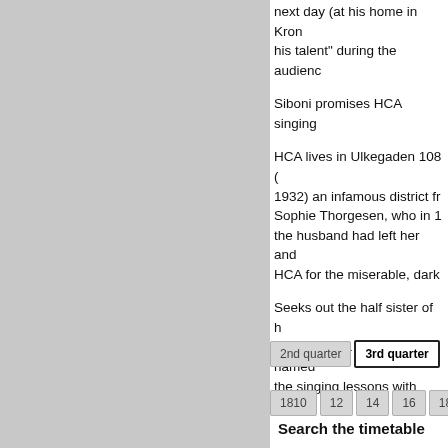next day (at his home in Kron… his talent" during the audien…
Siboni promises HCA singing…
HCA lives in Ulkegaden 108 (… 1932) an infamous district fr… Sophie Thorgesen, who in 1… the husband had left her an… HCA for the miserable, dark…
Seeks out the half sister of h… German by a teacher named… the singing lessons with Sibo…
2nd quarter
3rd quarter
Show…
1810
12
14
16
18
Index
Search the timetable